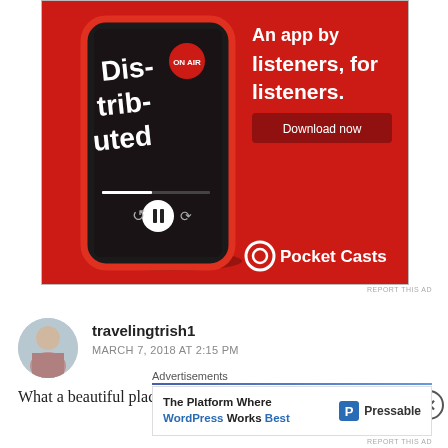[Figure (photo): Pocket Casts app advertisement on red background showing a smartphone with 'Distributed' podcast playing. Text reads 'An app by listeners, for listeners.' with a 'Download now' button and Pocket Casts logo.]
REPORT THIS AD
travelingtrish1
MARCH 7, 2018 AT 2:15 PM
What a beautiful place!! It's the best feeling in the world
Advertisements
[Figure (screenshot): Pressable advertisement: 'The Platform Where WordPress Works Best' with Pressable logo.]
REPORT THIS AD